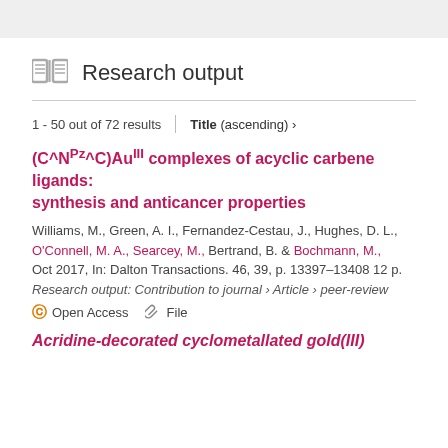Research output
1 - 50 out of 72 results   Title (ascending) ›
(C^NPz^C)AuIII complexes of acyclic carbene ligands: synthesis and anticancer properties
Williams, M., Green, A. I., Fernandez-Cestau, J., Hughes, D. L., O'Connell, M. A., Searcey, M., Bertrand, B. & Bochmann, M., Oct 2017, In: Dalton Transactions. 46, 39, p. 13397–13408 12 p.
Research output: Contribution to journal › Article › peer-review
Open Access   File
Acridine-decorated cyclometallated gold(III)